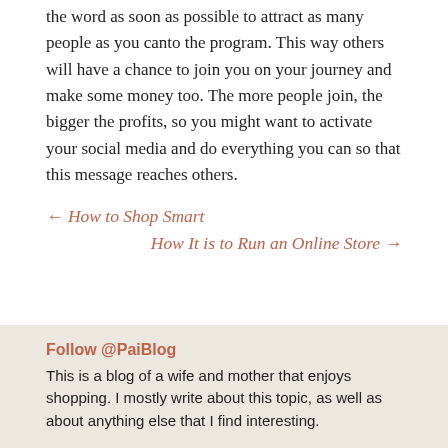the word as soon as possible to attract as many people as you canto the program. This way others will have a chance to join you on your journey and make some money too. The more people join, the bigger the profits, so you might want to activate your social media and do everything you can so that this message reaches others.
← How to Shop Smart
How It is to Run an Online Store →
Follow @PaiBlog
This is a blog of a wife and mother that enjoys shopping. I mostly write about this topic, as well as about anything else that I find interesting.